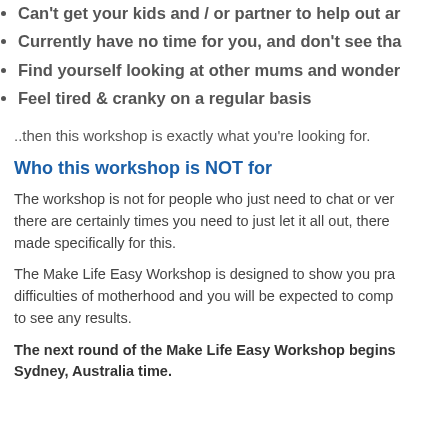Can't get your kids and / or partner to help out ar
Currently have no time for you, and don't see tha
Find yourself looking at other mums and wonder
Feel tired & cranky on a regular basis
..then this workshop is exactly what you're looking for.
Who this workshop is NOT for
The workshop is not for people who just need to chat or ver there are certainly times you need to just let it all out, there made specifically for this.
The Make Life Easy Workshop is designed to show you pra difficulties of motherhood and you will be expected to comp to see any results.
The next round of the Make Life Easy Workshop begins Sydney, Australia time.